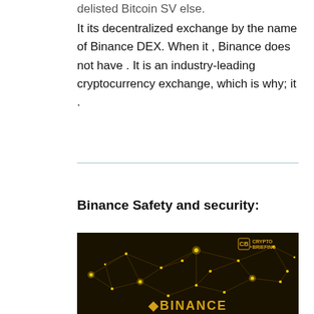delisted Bitcoin SV else.
It its decentralized exchange by the name of Binance DEX. When it , Binance does not have . It is an industry-leading cryptocurrency exchange, which is why; it .
Binance Safety and security:
[Figure (photo): Dark background image showing a golden network/constellation map with the Binance logo text at the bottom and Crypto Briefing logo in the top right corner.]